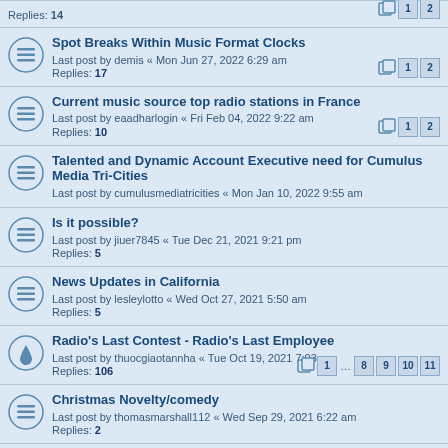Replies: 14 [pages 1 2]
Spot Breaks Within Music Format Clocks
Last post by demis « Mon Jun 27, 2022 6:29 am
Replies: 17 [pages 1 2]
Current music source top radio stations in France
Last post by eaadharlogin « Fri Feb 04, 2022 9:22 am
Replies: 10 [pages 1 2]
Talented and Dynamic Account Executive need for Cumulus Media Tri-Cities
Last post by cumulusmediatricities « Mon Jan 10, 2022 9:55 am
Is it possible?
Last post by jiuer7845 « Tue Dec 21, 2021 9:21 pm
Replies: 5
News Updates in California
Last post by lesleylotto « Wed Oct 27, 2021 5:50 am
Replies: 5
Radio's Last Contest - Radio's Last Employee
Last post by thuocgiaotannha « Tue Oct 19, 2021 7:03 pm
Replies: 106 [pages 1 ... 8 9 10 11]
Christmas Novelty/comedy
Last post by thomasmarshall112 « Wed Sep 29, 2021 6:22 am
Replies: 2
Headphone question
Last post by johnnymayo « Thu Aug 26, 2021 1:01 pm
Replies: 0